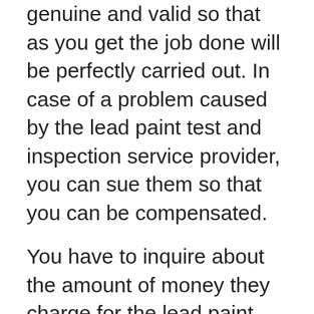genuine and valid so that as you get the job done will be perfectly carried out. In case of a problem caused by the lead paint test and inspection service provider, you can sue them so that you can be compensated.
You have to inquire about the amount of money they charge for the lead paint test and inspection service. The charges will be based on the type of inspection to be done and the magnitude of the project. You can ask for estimates from different lead paint test and inspection service providers as they will charge differently where you can make the comparison against your budget.
It is also crucial that you get to consider looking at the years of working experience.